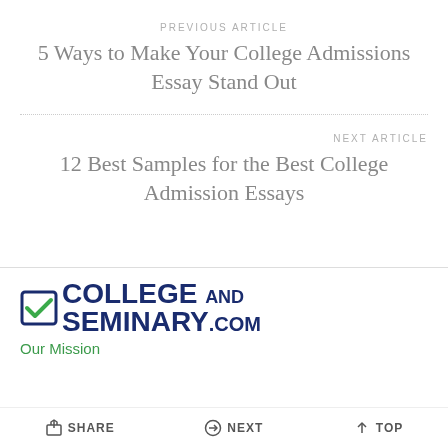PREVIOUS ARTICLE
5 Ways to Make Your College Admissions Essay Stand Out
NEXT ARTICLE
12 Best Samples for the Best College Admission Essays
[Figure (logo): CollegeAndSeminary.com logo with blue checkbox and bold navy text]
Our Mission
SHARE   NEXT   TOP